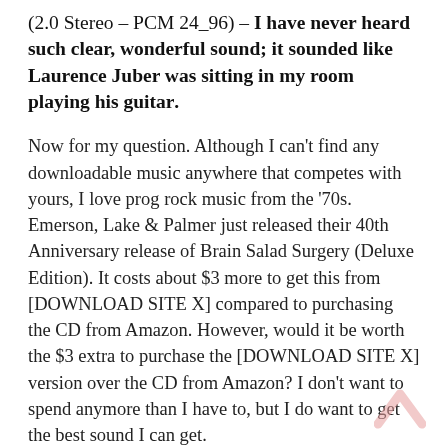(2.0 Stereo – PCM 24_96) – I have never heard such clear, wonderful sound; it sounded like Laurence Juber was sitting in my room playing his guitar.
Now for my question. Although I can't find any downloadable music anywhere that competes with yours, I love prog rock music from the '70s. Emerson, Lake & Palmer just released their 40th Anniversary release of Brain Salad Surgery (Deluxe Edition). It costs about $3 more to get this from [DOWNLOAD SITE X] compared to purchasing the CD from Amazon. However, would it be worth the $3 extra to purchase the [DOWNLOAD SITE X] version over the CD from Amazon? I don't want to spend anymore than I have to, but I do want to get the best sound I can get.
I appreciate everything you are doing to provide the best audio quality there is, and if you were able